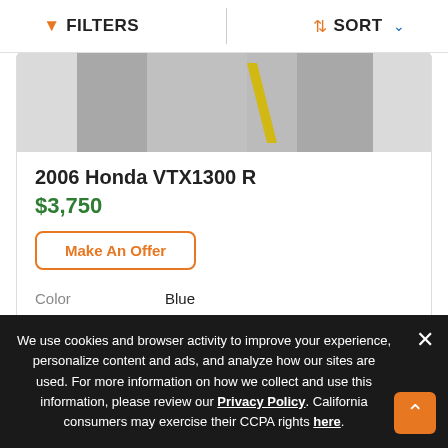FILTERS    SORT
[Figure (photo): Partial photo of a motorcycle on pavement with a yellow line visible, flanked by gray side panels]
2006 Honda VTX1300 R
$3,750
Make An Offer
| Color | Blue |
| Miles | 14,286 |
Advertisement
We use cookies and browser activity to improve your experience, personalize content and ads, and analyze how our sites are used. For more information on how we collect and use this information, please review our Privacy Policy. California consumers may exercise their CCPA rights here.